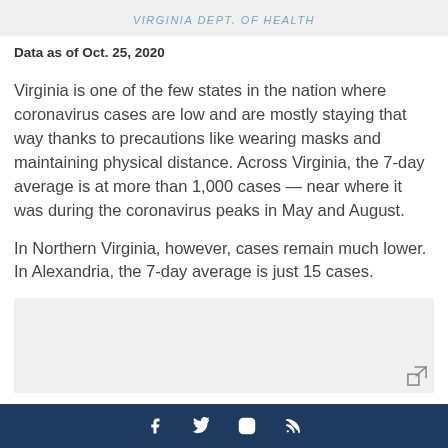VIRGINIA DEPT. OF HEALTH
Data as of Oct. 25, 2020
Virginia is one of the few states in the nation where coronavirus cases are low and are mostly staying that way thanks to precautions like wearing masks and maintaining physical distance. Across Virginia, the 7-day average is at more than 1,000 cases — near where it was during the coronavirus peaks in May and August.
In Northern Virginia, however, cases remain much lower. In Alexandria, the 7-day average is just 15 cases.
[Figure (other): Gray placeholder box with expand icon in bottom-right corner]
f  Twitter  Instagram  RSS